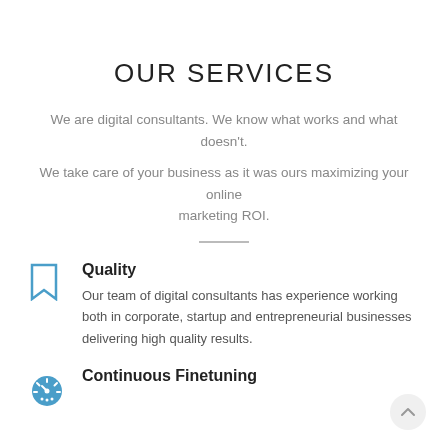OUR SERVICES
We are digital consultants. We know what works and what doesn't.
We take care of your business as it was ours maximizing your online marketing ROI.
Quality
Our team of digital consultants has experience working both in corporate, startup and entrepreneurial businesses delivering high quality results.
Continuous Finetuning